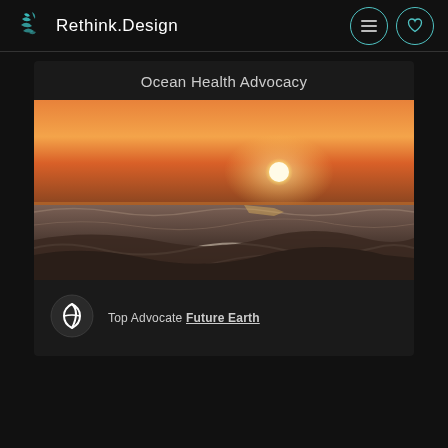[Figure (logo): Rethink.Design logo with teal zebra-like icon and white text]
Ocean Health Advocacy
[Figure (photo): Ocean sunset photo showing waves in foreground with orange-red sky and bright sun near horizon]
Top Advocate Future Earth